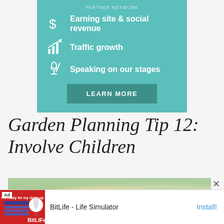[Figure (infographic): Teal/green promotional banner with partner network features: dollar sign icon with 'Earning site & social revenue', bar chart icon with 'Traffic growth', microphone icon with 'Speaking on our stages', and a 'LEARN MORE' button]
Garden Planning Tip 12: Involve Children
[Figure (photo): Outdoor garden photo showing people/children in a yard with greenery]
[Figure (infographic): Bottom advertisement for BitLife - Life Simulator app with red background image and Install! button]